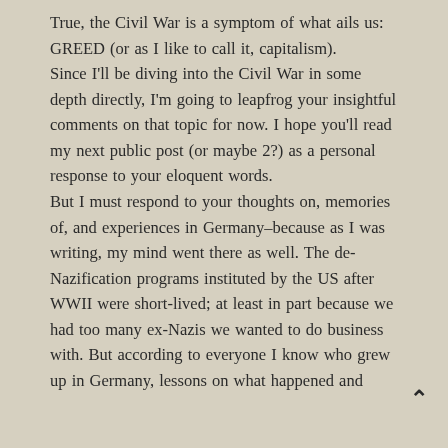True, the Civil War is a symptom of what ails us: GREED (or as I like to call it, capitalism).
Since I'll be diving into the Civil War in some depth directly, I'm going to leapfrog your insightful comments on that topic for now. I hope you'll read my next public post (or maybe 2?) as a personal response to your eloquent words.
But I must respond to your thoughts on, memories of, and experiences in Germany–because as I was writing, my mind went there as well. The de-Nazification programs instituted by the US after WWII were short-lived; at least in part because we had too many ex-Nazis we wanted to do business with. But according to everyone I know who grew up in Germany, lessons on what happened and